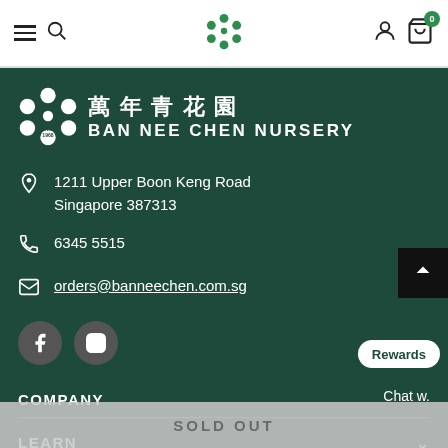[Figure (screenshot): Mobile website navigation bar with hamburger menu, search icon, green flower logo, person icon, and shopping cart with badge showing 0]
[Figure (logo): Ban Nee Chen Nursery logo with white flower emblem, Chinese characters 萬年青花園, and text 'SINCE 1968 BAN NEE CHEN NURSERY' on dark green background]
1211 Upper Boon Keng Road
Singapore 387313
6345 5515
orders@banneechen.com.sg
[Figure (illustration): Facebook and Instagram social media icon buttons]
COMPANY
LEARN
Chat w.
Rewards
SOLD OUT